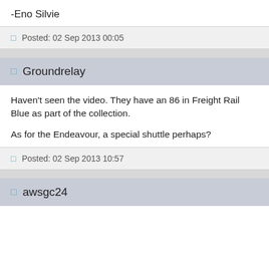-Eno Silvie
Posted: 02 Sep 2013 00:05
Groundrelay
Haven't seen the video. They have an 86 in Freight Rail Blue as part of the collection.

As for the Endeavour, a special shuttle perhaps?
Posted: 02 Sep 2013 10:57
awsgc24